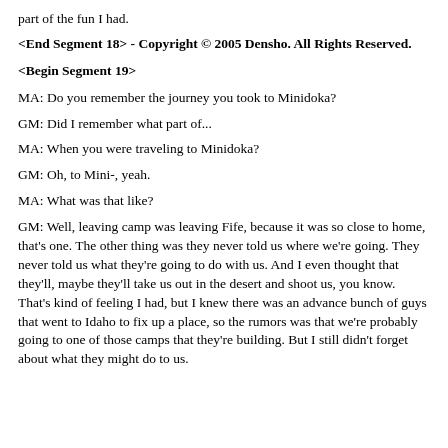part of the fun I had.
<End Segment 18> - Copyright © 2005 Densho. All Rights Reserved.
<Begin Segment 19>
MA: Do you remember the journey you took to Minidoka?
GM: Did I remember what part of...
MA: When you were traveling to Minidoka?
GM: Oh, to Mini-, yeah.
MA: What was that like?
GM: Well, leaving camp was leaving Fife, because it was so close to home, that's one. The other thing was they never told us where we're going. They never told us what they're going to do with us. And I even thought that they'll, maybe they'll take us out in the desert and shoot us, you know. That's kind of feeling I had, but I knew there was an advance bunch of guys that went to Idaho to fix up a place, so the rumors was that we're probably going to one of those camps that they're building. But I still didn't forget about what they might do to us.